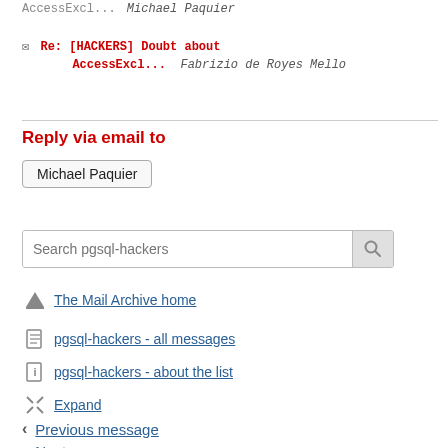AccessExcl... Michael Paquier
Re: [HACKERS] Doubt about AccessExcl... Fabrizio de Royes Mello
Reply via email to
Michael Paquier
Search pgsql-hackers
The Mail Archive home
pgsql-hackers - all messages
pgsql-hackers - about the list
Expand
Previous message
Next message